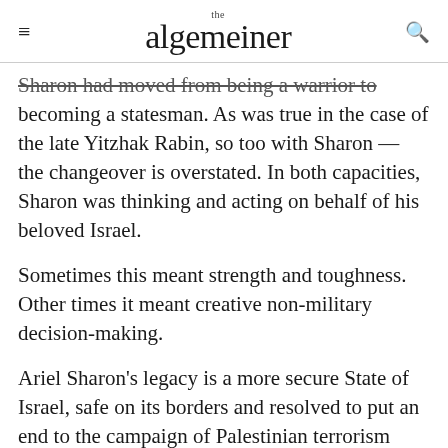the algemeiner
Sharon had moved from being a warrior to becoming a statesman. As was true in the case of the late Yitzhak Rabin, so too with Sharon — the changeover is overstated. In both capacities, Sharon was thinking and acting on behalf of his beloved Israel.
Sometimes this meant strength and toughness. Other times it meant creative non-military decision-making.
Ariel Sharon's legacy is a more secure State of Israel, safe on its borders and resolved to put an end to the campaign of Palestinian terrorism once and for all.  It is not only Israel, but the Jewish people, the U.S., and the international community